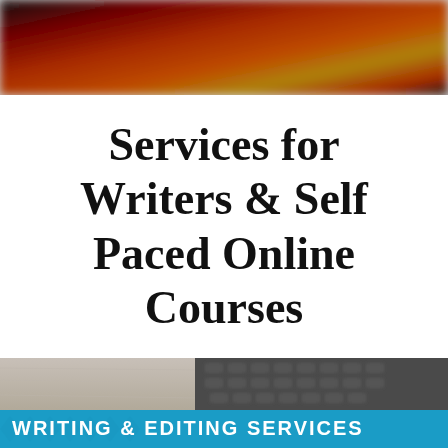[Figure (photo): Blurred photo strip at top showing warm colors (red, orange, yellow tones) suggesting books or artistic materials]
Services for Writers & Self Paced Online Courses
[Figure (photo): Bottom banner photo showing a laptop keyboard on wooden surface with a teal/blue bar overlay reading WRITING & EDITING SERVICES]